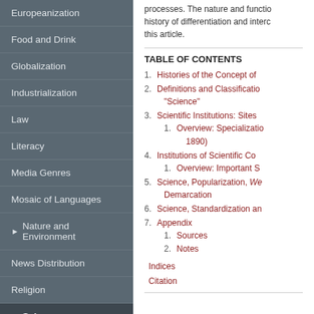processes. The nature and functio... history of differentiation and interc... this article.
TABLE OF CONTENTS
1. Histories of the Concept of
2. Definitions and Classifications ... "Science"
3. Scientific Institutions: Sites
1. Overview: Specialization ... 1890)
4. Institutions of Scientific Co...
1. Overview: Important S...
5. Science, Popularization, We... Demarcation
6. Science, Standardization an...
7. Appendix
1. Sources
2. Notes
Indices
Citation
Europeanization
Food and Drink
Globalization
Industrialization
Law
Literacy
Media Genres
Mosaic of Languages
Nature and Environment
News Distribution
Religion
Science